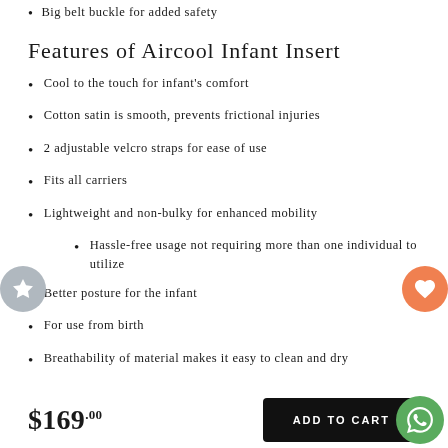Big belt buckle for added safety
Features of Aircool Infant Insert
Cool to the touch for infant's comfort
Cotton satin is smooth, prevents frictional injuries
2 adjustable velcro straps for ease of use
Fits all carriers
Lightweight and non-bulky for enhanced mobility
Hassle-free usage not requiring more than one individual to utilize
Better posture for the infant
For use from birth
Breathability of material makes it easy to clean and dry
$169.00
ADD TO CART